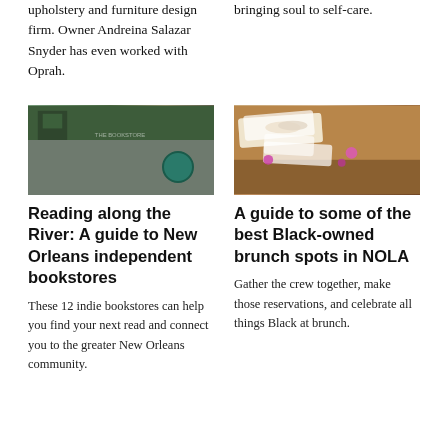upholstery and furniture design firm. Owner Andreina Salazar Snyder has even worked with Oprah.
bringing soul to self-care.
[Figure (photo): Exterior facade of a bookstore with trees and a circular logo on the wall]
[Figure (photo): Food plated on white rectangular dishes with pink flowers, brunch setting on a wooden table]
Reading along the River: A guide to New Orleans independent bookstores
A guide to some of the best Black-owned brunch spots in NOLA
These 12 indie bookstores can help you find your next read and connect you to the greater New Orleans community.
Gather the crew together, make those reservations, and celebrate all things Black at brunch.